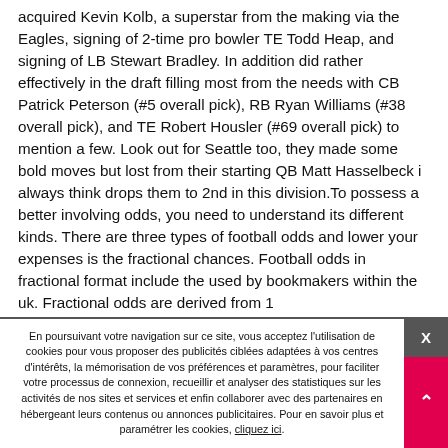acquired Kevin Kolb, a superstar from the making via the Eagles, signing of 2-time pro bowler TE Todd Heap, and signing of LB Stewart Bradley. In addition did rather effectively in the draft filling most from the needs with CB Patrick Peterson (#5 overall pick), RB Ryan Williams (#38 overall pick), and TE Robert Housler (#69 overall pick) to mention a few. Look out for Seattle too, they made some bold moves but lost from their starting QB Matt Hasselbeck i always think drops them to 2nd in this division.To possess a better involving odds, you need to understand its different kinds. There are three types of football odds and lower your expenses is the fractional chances. Football odds in fractional format include the used by bookmakers within the uk. Fractional odds are derived from 1
En poursuivant votre navigation sur ce site, vous acceptez l'utilisation de cookies pour vous proposer des publicités ciblées adaptées à vos centres d'intérêts, la mémorisation de vos préférences et paramètres, pour faciliter votre processus de connexion, recueillir et analyser des statistiques sur les activités de nos sites et services et enfin collaborer avec des partenaires en hébergeant leurs contenus ou annonces publicitaires. Pour en savoir plus et paramétrer les cookies, cliquez ici.